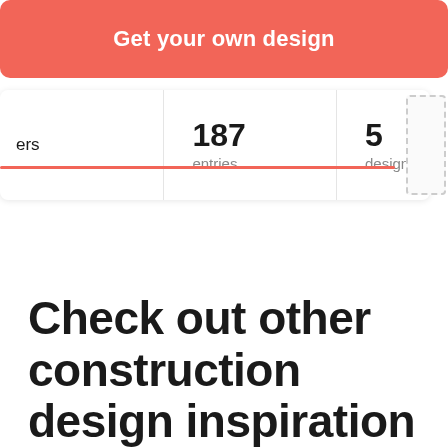[Figure (screenshot): Red button labeled 'Get your own design']
ers
187
entries
5
designers
Check out other construction design inspiration